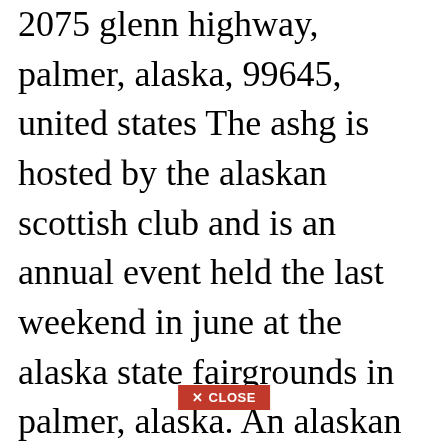2075 glenn highway, palmer, alaska, 99645, united states The ashg is hosted by the alaskan scottish club and is an annual event held the last weekend in june at the alaska state fairgrounds in palmer, alaska. An alaskan scottish club membership gives you access to some great events throughout the year that celebrate the scottish culture in alaska. 39th annual alaska scottish highland games. The alaskan scottish club is very pleased to announce that our 35th annual highland games, june 25 and 26, 2016 will host the ibcf world heavy events...